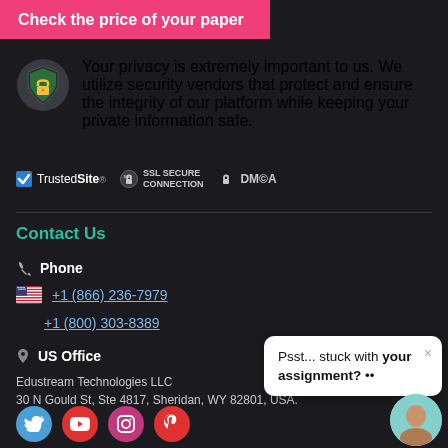Check the price of your paper
Your privacy is extremely important to us. We utilize security vendors that protect and ensure the integrity of our platform while keeping your private information safe.
[Figure (infographic): Trust badges: TrustedSite, SSL SECURE CONNECTION, DMCA]
Contact Us
Phone
+1 (866) 236-7979
+1 (800) 303-8389
US Office
Edustream Technologies LLC
30 N Gould St, Ste 4817, Sheridan, WY 82801, USA.
[Figure (infographic): Social media icons: Twitter, YouTube, Instagram, Pinterest]
Psst... stuck with your assignment? ••